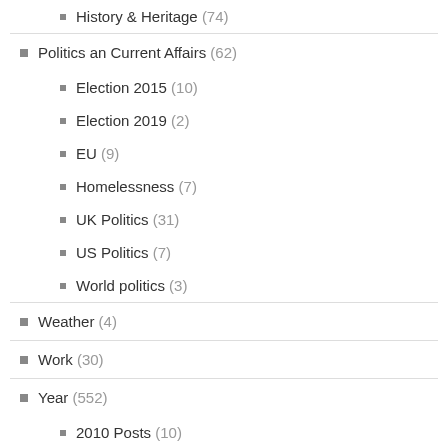History & Heritage (74)
Politics an Current Affairs (62)
Election 2015 (10)
Election 2019 (2)
EU (9)
Homelessness (7)
UK Politics (31)
US Politics (7)
World politics (3)
Weather (4)
Work (30)
Year (552)
2010 Posts (10)
2011 Posts (27)
2012 Posts (70)
2012 Year End (5)
2013 Posts (38)